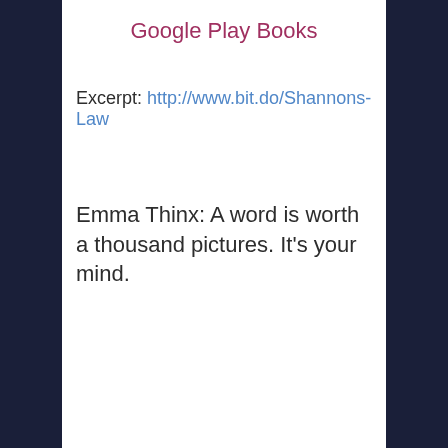Google Play Books
Excerpt: http://www.bit.do/Shannons-Law
Emma Thinx: A word is worth a thousand pictures. It's your mind.